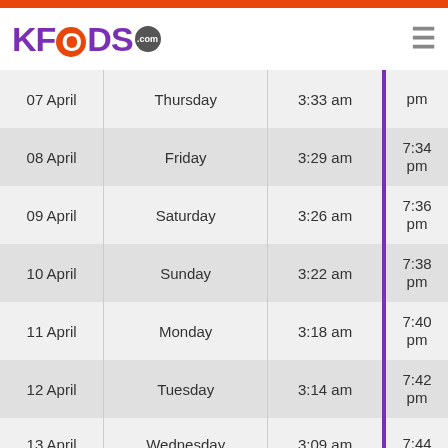[Figure (logo): KFoods.com logo with orange circle O and grey .com badge, purple/orange text]
| Date | Day | Sehri | Iftar |
| --- | --- | --- | --- |
| 07 April | Thursday | 3:33 am | pm |
| 08 April | Friday | 3:29 am | 7:34 pm |
| 09 April | Saturday | 3:26 am | 7:36 pm |
| 10 April | Sunday | 3:22 am | 7:38 pm |
| 11 April | Monday | 3:18 am | 7:40 pm |
| 12 April | Tuesday | 3:14 am | 7:42 pm |
| 13 April | Wednesday | 3:09 am | 7:44 |